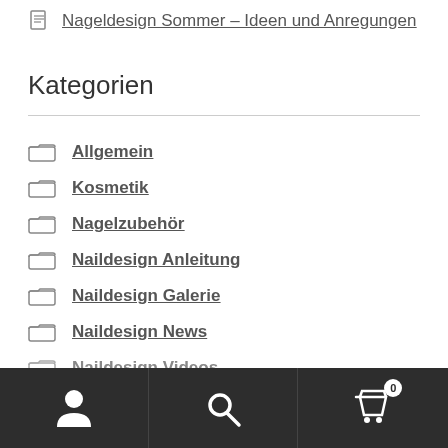Nageldesign Sommer – Ideen und Anregungen
Kategorien
Allgemein
Kosmetik
Nagelzubehör
Naildesign Anleitung
Naildesign Galerie
Naildesign News
Naildesign Videos